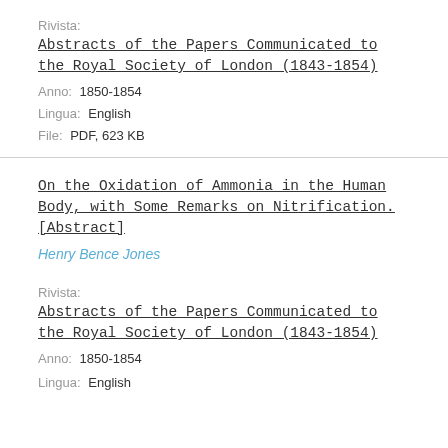Rivista:
Abstracts of the Papers Communicated to the Royal Society of London (1843-1854)
Anno:  1850-1854
Lingua:  English
File:  PDF, 623 KB
On the Oxidation of Ammonia in the Human Body, with Some Remarks on Nitrification. [Abstract]
Henry Bence Jones
Rivista:
Abstracts of the Papers Communicated to the Royal Society of London (1843-1854)
Anno:  1850-1854
Lingua:  English